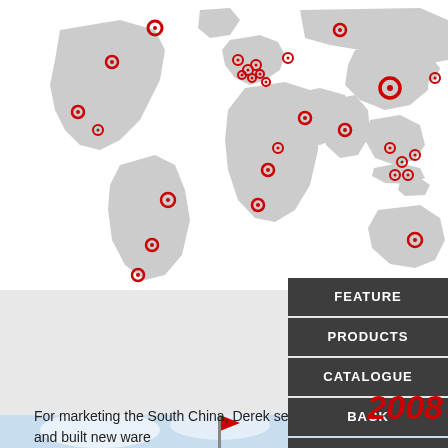[Figure (map): World map in grey with red circular markers indicating company locations across North America, South America, Europe, Middle East, Asia, Southeast Asia, and Australia.]
[Figure (infographic): Navigation buttons panel on right side: FEATURE, PRODUCTS, CATALOGUE, BACK, and up-arrow, with year label 2008 in red italic and a photo strip at the bottom showing a red flag against a sky background.]
For marketing the South China, Derek set up … g and built new ware…